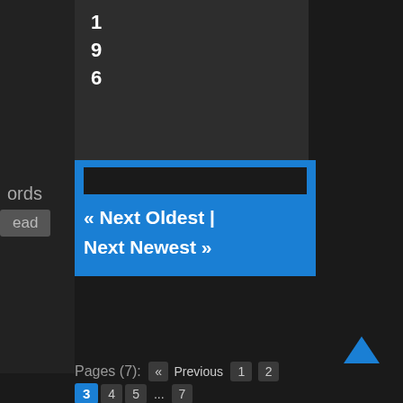1
9
6
ords
ead
« Next Oldest | Next Newest »
Pages (7):  « Previous  1  2  3  4  5  ...  7  Next »
✕ Thread Closed
View a Printable Version
Forum Jump:
-- SEO General
Go